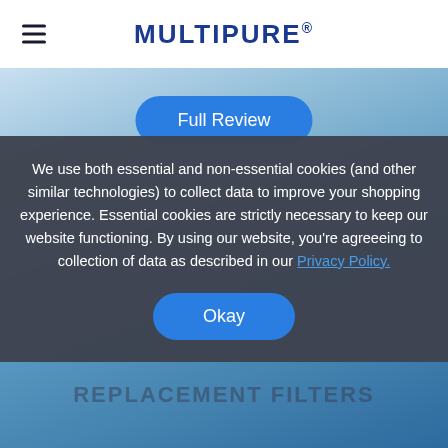MULTIPURE®
[Figure (screenshot): Website background with blue bokeh/water effect and a 'Full Review' button in blue rounded rectangle, and 'REPLACEMENT FILTERS' text visible behind a cookie consent modal]
We use both essential and non-essential cookies (and other similar technologies) to collect data to improve your shopping experience. Essential cookies are strictly necessary to keep our website functioning. By using our website, you're agreeeing to collection of data as described in our Privacy Policy.
Okay